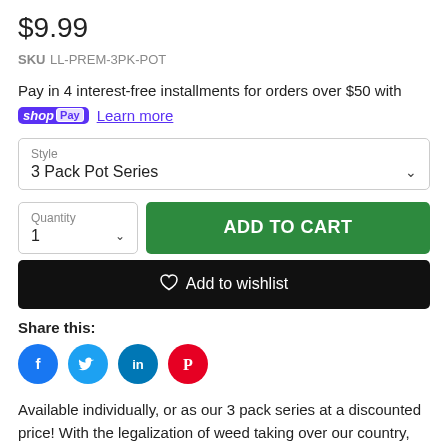$9.99
SKU LL-PREM-3PK-POT
Pay in 4 interest-free installments for orders over $50 with shop Pay Learn more
Style: 3 Pack Pot Series
Quantity: 1 | ADD TO CART
Add to wishlist
Share this:
[Figure (infographic): Social share icons: Facebook (blue circle with f), Twitter (light blue circle with bird), LinkedIn (dark blue circle with in), Pinterest (red circle with P)]
Available individually, or as our 3 pack series at a discounted price! With the legalization of weed taking over our country, our Lighter Leashes® are becoming more in demand. Represent this great